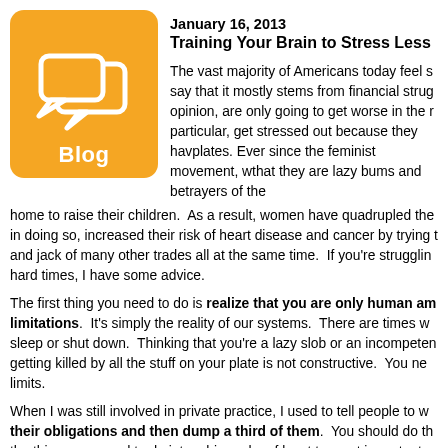[Figure (logo): Orange rounded-square blog icon with two speech bubble outlines in white and 'Blog' label at the bottom]
January 16, 2013
Training Your Brain to Stress Less
The vast majority of Americans today feel stressed. Many say that it mostly stems from financial struggles, which, in my opinion, are only going to get worse in the near future. Women, in particular, get stressed out because they have too much on their plates. Ever since the feminist movement, women fear that they are lazy bums and betrayers of the cause if they stay home to raise their children. As a result, women have quadrupled their workload and, in doing so, increased their risk of heart disease and cancer by trying to be mom, career woman, and jack of many other trades all at the same time. If you're struggling to make it through these hard times, I have some advice.
The first thing you need to do is realize that you are only human and have human limitations. It's simply the reality of our systems. There are times when our brains need to sleep or shut down. Thinking that you're a lazy slob or an incompetent fool because you're getting killed by all the stuff on your plate is not constructive. You need to respect your limits.
When I was still involved in private practice, I used to tell people to write down all of their obligations and then dump a third of them. You should do this by first organizing all the things you need to do into a hierarchy of least to most important, and then dump the ones that are least important.